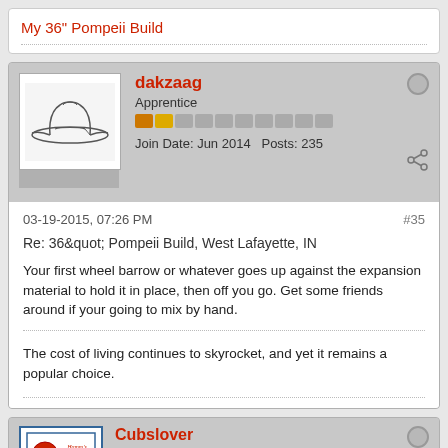My 36" Pompeii Build
dakzaag
Apprentice
Join Date: Jun 2014   Posts: 235
03-19-2015, 07:26 PM
#35
Re: 36" Pompeii Build, West Lafayette, IN
Your first wheel barrow or whatever goes up against the expansion material to hold it in place, then off you go. Get some friends around if your going to mix by hand.
The cost of living continues to skyrocket, and yet it remains a popular choice.
Cubslover
Apprentice